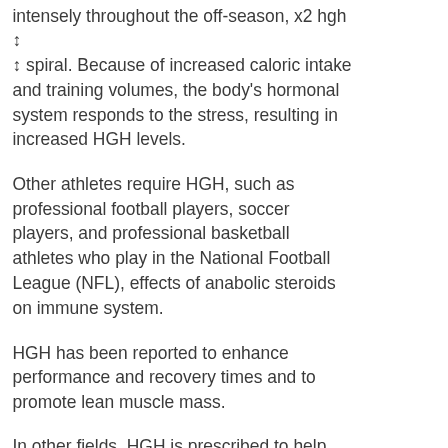intensely throughout the off-season, x2 hgh ↕ ↕ spiral. Because of increased caloric intake and training volumes, the body's hormonal system responds to the stress, resulting in increased HGH levels.
Other athletes require HGH, such as professional football players, soccer players, and professional basketball athletes who play in the National Football League (NFL), effects of anabolic steroids on immune system.
HGH has been reported to enhance performance and recovery times and to promote lean muscle mass.
In other fields, HGH is prescribed to help fight illnesses and disorders such as autism and Parkinson's disease, effects of steroid muscle.